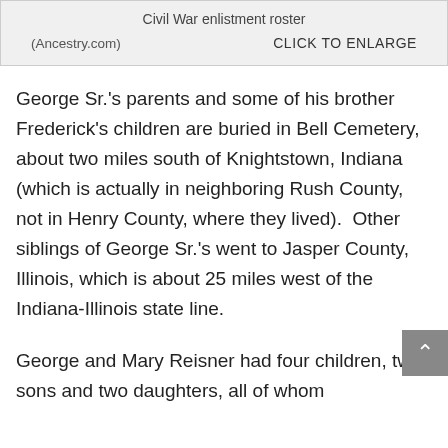[Figure (screenshot): Civil War enlistment roster image box with caption '(Ancestry.com)' and 'CLICK TO ENLARGE' label on a grey background]
George Sr.'s parents and some of his brother Frederick's children are buried in Bell Cemetery, about two miles south of Knightstown, Indiana (which is actually in neighboring Rush County, not in Henry County, where they lived).  Other siblings of George Sr.'s went to Jasper County, Illinois, which is about 25 miles west of the Indiana-Illinois state line.
George and Mary Reisner had four children, two sons and two daughters, all of whom